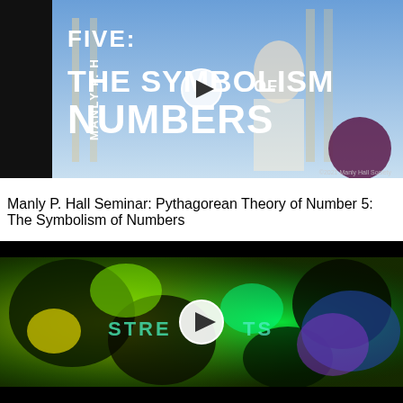[Figure (screenshot): Video thumbnail for Manly P. Hall seminar showing title text FIVE: THE SYMBOLISM OF NUMBERS over an illustrated background of a Greek philosopher figure in robes, with a play button overlay. Left sidebar shows MANLY P. H text vertically.]
Manly P. Hall Seminar: Pythagorean Theory of Number 5: The Symbolism of Numbers
[Figure (screenshot): Video thumbnail showing a psychedelic green and colorful abstract visual with a play button overlay in the center, and text reading 'STREETS' partially visible.]